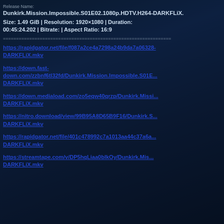Release Name:
Dunkirk.Mission.Impossible.S01E02.1080p.HDTV.H264-DARKFLiX.
Size: 1.49 GiB | Resolution: 1920×1080 | Duration: 00:45:24.202 | Bitrate: | Aspect Ratio: 16:9
================================================================
https://rapidgator.net/file/f087a2ce4a7298a24b9da7a06328.../DARKFLiX.mkv
https://down.fast-down.com/zzbnf6tl32fd/Dunkirk.Mission.Impossible.S01E.../DARKFLiX.mkv
https://down.mediaload.com/zo5eqw40qrzp/Dunkirk.Missi.../DARKFLiX.mkv
https://nitro.download/view/99B95A8D65B9F16/Dunkirk.S.../DARKFLiX.mkv
https://rapidgator.net/file/401c478992c7a1013aa44c37a6a.../DARKFLiX.mkv
https://streamtape.com/v/DP5hqLiaa0bIkOy/Dunkirk.Mis.../DARKFLiX.mkv